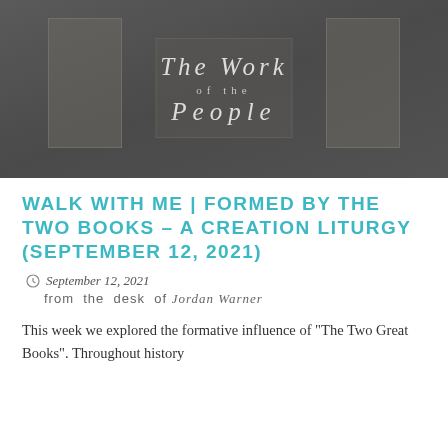[Figure (logo): The Work of the People banner logo with italic text on a dark gray textured background]
WALK WITH ME | FORMED BY THE TWO BOOKS – A CREATION LITURGY (SEPTEMBER 12, 2021)
September 12, 2021
from the desk of Jordan Warner
This week we explored the formative influence of "The Two Great Books". Throughout history